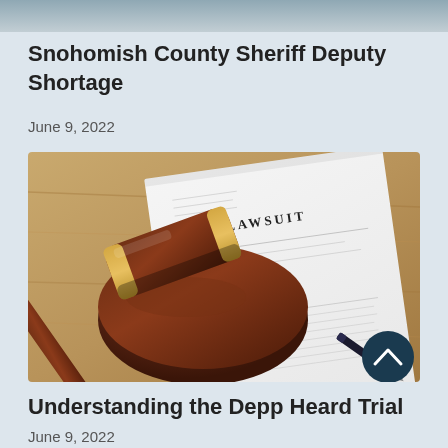[Figure (photo): Top portion of a cropped image, partially visible at the top of the page]
Snohomish County Sheriff Deputy Shortage
June 9, 2022
[Figure (photo): A judge's gavel resting on its sound block, placed on top of a document titled LAWSUIT, with a pen visible on the right, on a wooden desk background]
Understanding the Depp Heard Trial
June 9, 2022